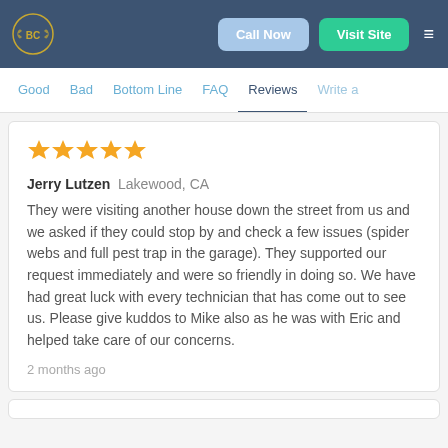BC | Call Now | Visit Site | ≡
Good  Bad  Bottom Line  FAQ  Reviews  Write a
[Figure (other): Five star rating (5 gold stars)]
Jerry Lutzen  Lakewood, CA
They were visiting another house down the street from us and we asked if they could stop by and check a few issues (spider webs and full pest trap in the garage). They supported our request immediately and were so friendly in doing so. We have had great luck with every technician that has come out to see us. Please give kuddos to Mike also as he was with Eric and helped take care of our concerns.
2 months ago